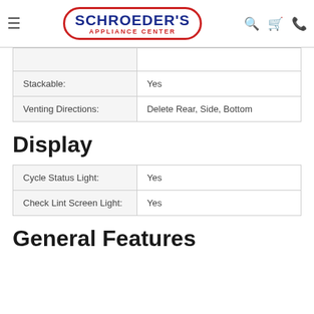Schroeder's Appliance Center
|  |  |
| Stackable: | Yes |
| Venting Directions: | Delete Rear, Side, Bottom |
Display
| Cycle Status Light: | Yes |
| Check Lint Screen Light: | Yes |
General Features